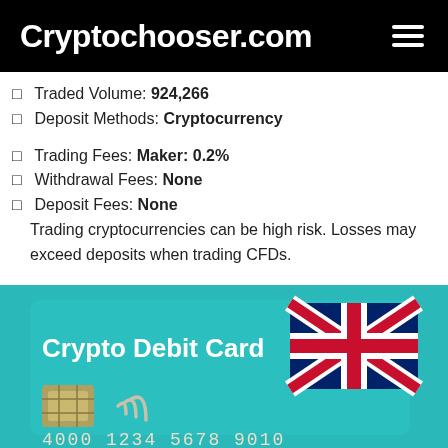Cryptochooser.com
Traded Volume: 924,266
Deposit Methods: Cryptocurrency
Trading Fees: Maker: 0.2%
Withdrawal Fees: None
Deposit Fees: None
Trading cryptocurrencies can be high risk. Losses may exceed deposits when trading CFDs.
[Figure (photo): Crypto Debit Card with UK flag, chip, contactless symbol, and card number 4000 1234 5678 9010 on teal background]